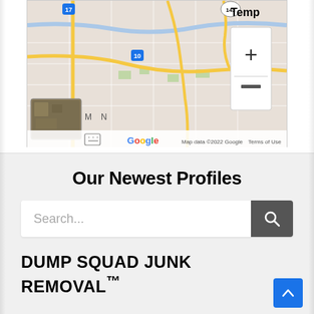[Figure (screenshot): Google Maps screenshot showing road map of Phoenix/Tempe area with route 17, 143, and 10 marked. Shows zoom controls (+ and -) on the right side. Bottom shows a satellite thumbnail, Google logo, and 'Map data ©2022 Google' and 'Terms of Use' text.]
Our Newest Profiles
Search...
DUMP SQUAD JUNK REMOVAL™